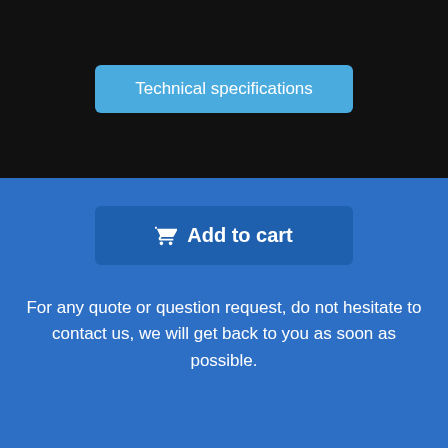Technical specifications
Add to cart
For any quote or question request, do not hesitate to contact us, we will get back to you as soon as possible.